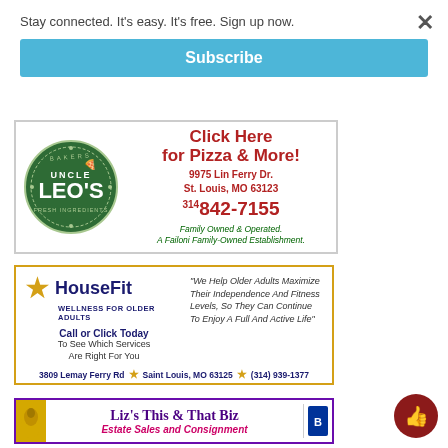Stay connected. It's easy. It's free. Sign up now.
Subscribe
[Figure (illustration): Uncle Leo's pizza restaurant advertisement with green circular logo showing 'Uncle Leo's Fresh Ingredients', text: Click Here for Pizza & More!, 9975 Lin Ferry Dr., St. Louis, MO 63123, 314-842-7155, Family Owned & Operated. A Failoni Family-Owned Establishment.]
[Figure (illustration): HouseFit Wellness for Older Adults advertisement with yellow star logo. Text: We Help Older Adults Maximize Their Independence And Fitness Levels, So They Can Continue To Enjoy A Full And Active Life. Call or Click Today To See Which Services Are Right For You. 3809 Lemay Ferry Rd, Saint Louis, MO 63125, (314) 939-1377]
[Figure (illustration): Liz's This & That Biz - Estate Sales and Consignment advertisement with purple border and BBB logo]